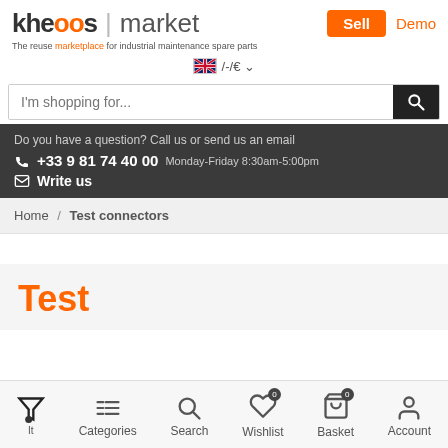kheoos | market — Sell Demo
The reuse marketplace for industrial maintenance spare parts
[Figure (screenshot): Language selector showing UK flag, /-/€ with dropdown arrow]
I'm shopping for...
Do you have a question? Call us or send us an email
+33 9 81 74 40 00 Monday-Friday 8:30am-5:00pm
Write us
Home / Test connectors
Test
Filter  Categories  Search  Wishlist 0  Basket 0  Account